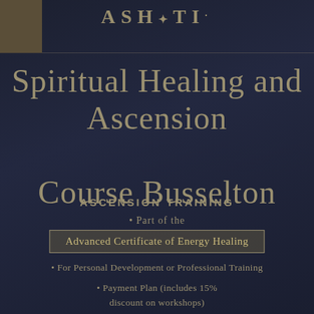ASHATI.
Spiritual Healing and Ascension Course Busselton
ASCENSION TRAINING
• Part of the
Advanced Certificate of Energy Healing
• For Personal Development or Professional Training
• Payment Plan (includes 15% discount on workshops)